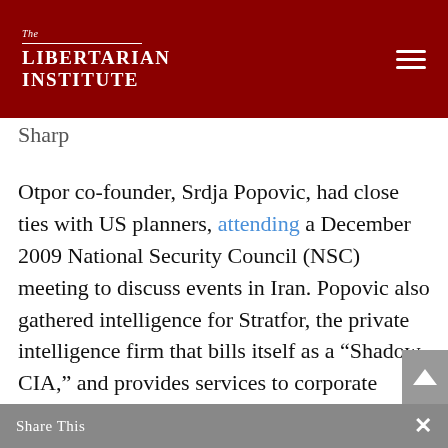The Libertarian Institute
Sharp
Otpor co-founder, Srdja Popovic, had close ties with US planners, attending a December 2009 National Security Council (NSC) meeting to discuss events in Iran. Popovic also gathered intelligence for Stratfor, the private intelligence firm that bills itself as a “Shadow CIA,” and provides services to corporate clients including the American Petroleum Institute, Archer Daniels Midland, Dow Chemical, Duke Energy, Northrop Grumman, Intel, and Coca-Cola. A Strator